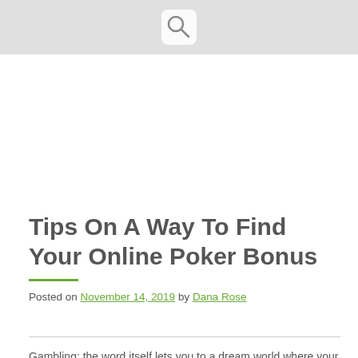Tips On A Way To Find Your Online Poker Bonus
Posted on November 14, 2019 by Dana Rose
Gambling: the word itself lets you to a dream world where your pockets are full and you bank accounts are flooding with